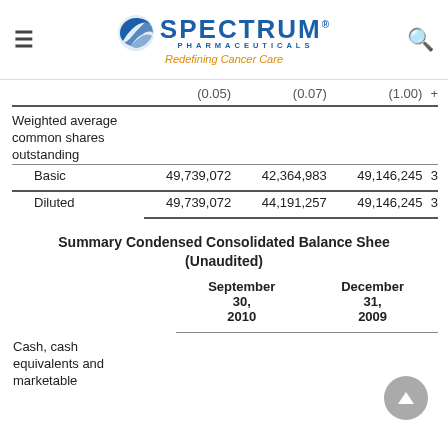Spectrum Pharmaceuticals — Redefining Cancer Care
|  | Col1 | Col2 | Col3 | Col4 |
| --- | --- | --- | --- | --- |
|  | (0.05) | (0.07) | (1.00) |  |
| Weighted average common shares outstanding |  |  |  |  |
| Basic | 49,739,072 | 42,364,983 | 49,146,245 | 3 |
| Diluted | 49,739,072 | 44,191,257 | 49,146,245 | 3 |
Summary Condensed Consolidated Balance Sheet (Unaudited)
|  | September 30, 2010 | December 31, 2009 |
| --- | --- | --- |
| Cash, cash equivalents and marketable |  |  |